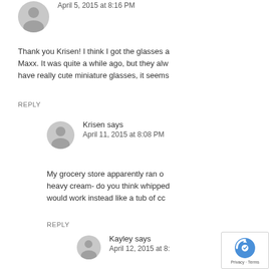April 5, 2015 at 8:16 PM
Thank you Krisen! I think I got the glasses at T.J. Maxx. It was quite a while ago, but they always have really cute miniature glasses, it seems
REPLY
Krisen says
April 11, 2015 at 8:08 PM
My grocery store apparently ran out of heavy cream- do you think whipped cream would work instead like a tub of co
REPLY
Kayley says
April 12, 2015 at 8:
Yes, Whipped topping wo